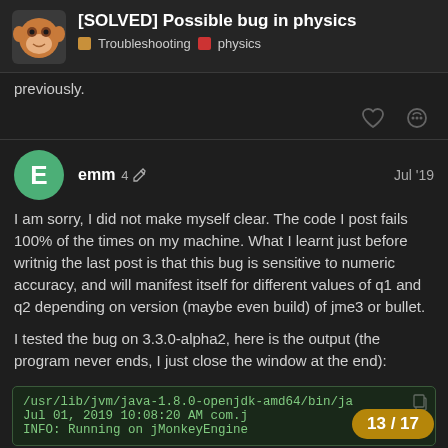[SOLVED] Possible bug in physics — Troubleshooting · physics
previously.
emm  4  Jul '19
I am sorry, I did not make myself clear. The code I post fails 100% of the times on my machine. What I learnt just before writnig the last post is that this bug is sensitive to numeric accuracy, and will manifest itself for different values of q1 and q2 depending on version (maybe even build) of jme3 or bullet.
I tested the bug on 3.3.0-alpha2, here is the output (the program never ends, I just close the window at the end):
/usr/lib/jvm/java-1.8.0-openjdk-amd64/bin/ja
Jul 01, 2019 10:08:20 AM com.j
INFO: Running on jMonkeyEngine
13 / 17